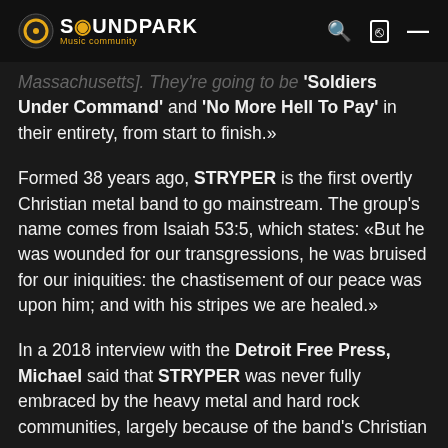SOUNDPARK Music community
Massachusetts]. They're going to be 'Soldiers Under Command' and 'No More Hell To Pay' in their entirety, from start to finish.»
Formed 38 years ago, STRYPER is the first overtly Christian metal band to go mainstream. The group's name comes from Isaiah 53:5, which states: «But he was wounded for our transgressions, he was bruised for our iniquities: the chastisement of our peace was upon him; and with his stripes we are healed.»
In a 2018 interview with the Detroit Free Press, Michael said that STRYPER was never fully embraced by the heavy metal and hard rock communities, largely because of the band's Christian